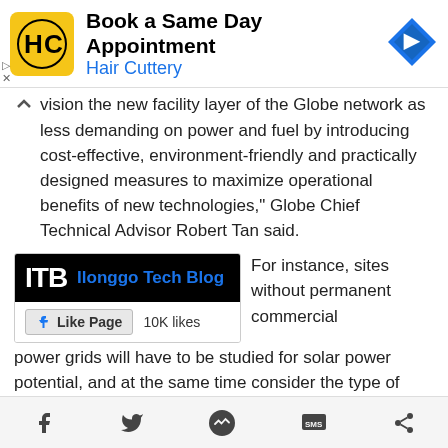[Figure (screenshot): Hair Cuttery advertisement banner: yellow logo with HC letters, text 'Book a Same Day Appointment' and 'Hair Cuttery', blue arrow road sign icon on right]
vision the new facility layer of the Globe network as less demanding on power and fuel by introducing cost-effective, environment-friendly and practically designed measures to maximize operational benefits of new technologies," Globe Chief Technical Advisor Robert Tan said.
[Figure (screenshot): Ilonggo Tech Blog Facebook Like Page widget: black box with ITB logo, blue 'Ilonggo Tech Blog' text, Like Page button and 10K likes]
For instance, sites without permanent commercial power grids will have to be studied for solar power potential, and at the same time consider the type of terrain to minimize
f  (Twitter)  (Messenger)  SMS  (Share)